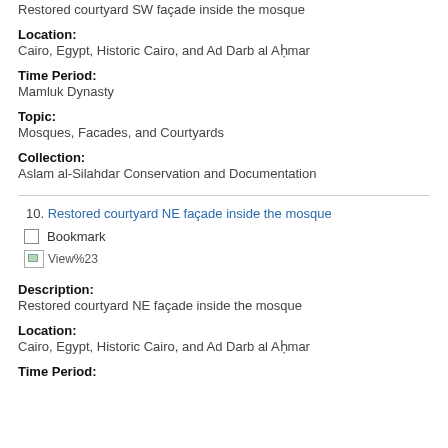Restored courtyard SW façade inside the mosque
Location:
Cairo, Egypt, Historic Cairo, and Ad Darb al Aḥmar
Time Period:
Mamluk Dynasty
Topic:
Mosques, Facades, and Courtyards
Collection:
Aslam al-Silahdar Conservation and Documentation
10. Restored courtyard NE façade inside the mosque
Bookmark
[Figure (other): Broken image placeholder showing View%23]
Description:
Restored courtyard NE façade inside the mosque
Location:
Cairo, Egypt, Historic Cairo, and Ad Darb al Aḥmar
Time Period: